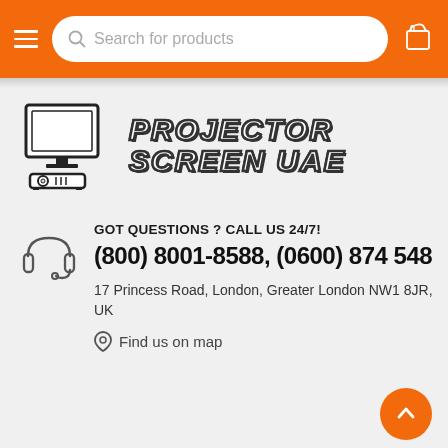Search for products
[Figure (logo): Projector Screen UAE logo with monitor, projector device icon and italic bold text 'PROJECTOR SCREEN UAE']
GOT QUESTIONS ? CALL US 24/7!
(800) 8001-8588, (0600) 874 548
17 Princess Road, London, Greater London NW1 8JR, UK
Find us on map